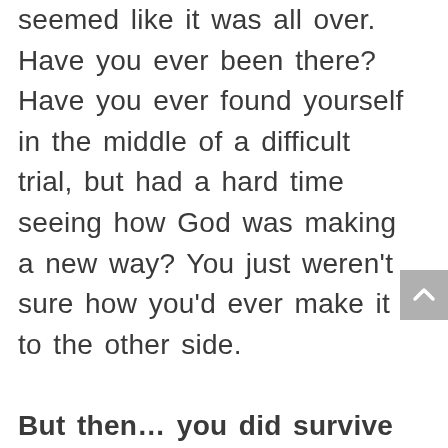seemed like it was all over. Have you ever been there? Have you ever found yourself in the middle of a difficult trial, but had a hard time seeing how God was making a new way? You just weren't sure how you'd ever make it to the other side.

But then… you did survive